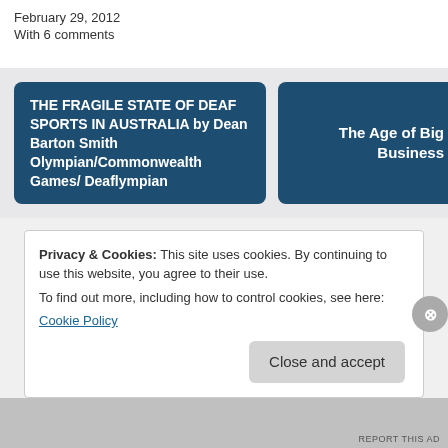February 29, 2012
With 6 comments
THE FRAGILE STATE OF DEAF SPORTS IN AUSTRALIA by Dean Barton Smith Olympian/Commonwealth Games/ Deaflympian
The Age of Big Business
Privacy & Cookies: This site uses cookies. By continuing to use this website, you agree to their use.
To find out more, including how to control cookies, see here:
Cookie Policy
Close and accept
REPORT THIS AD